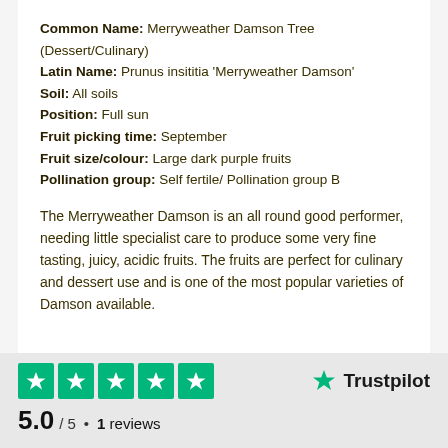Common Name: Merryweather Damson Tree (Dessert/Culinary)
Latin Name: Prunus insititia 'Merryweather Damson'
Soil: All soils
Position: Full sun
Fruit picking time: September
Fruit size/colour: Large dark purple fruits
Pollination group: Self fertile/ Pollination group B
The Merryweather Damson is an all round good performer, needing little specialist care to produce some very fine tasting, juicy, acidic fruits. The fruits are perfect for culinary and dessert use and is one of the most popular varieties of Damson available.
[Figure (logo): Trustpilot rating section: 5 green star boxes with white stars, Trustpilot logo, score 5.0 / 5 • 1 reviews]